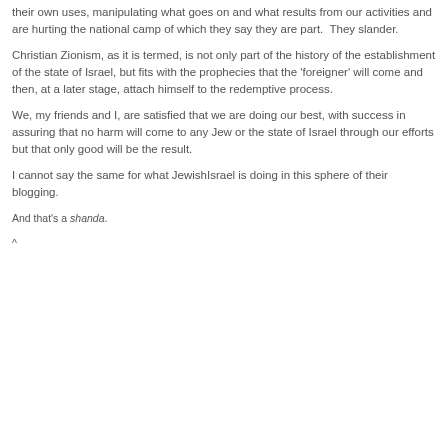their own uses, manipulating what goes on and what results from our activities and are hurting the national camp of which they say they are part.  They slander.
Christian Zionism, as it is termed, is not only part of the history of the establishment of the state of Israel, but fits with the prophecies that the 'foreigner' will come and then, at a later stage, attach himself to the redemptive process.
We, my friends and I, are satisfied that we are doing our best, with success in assuring that no harm will come to any Jew or the state of Israel through our efforts but that only good will be the result.
I cannot say the same for what JewishIsrael is doing in this sphere of their blogging.
And that's a shanda.
^